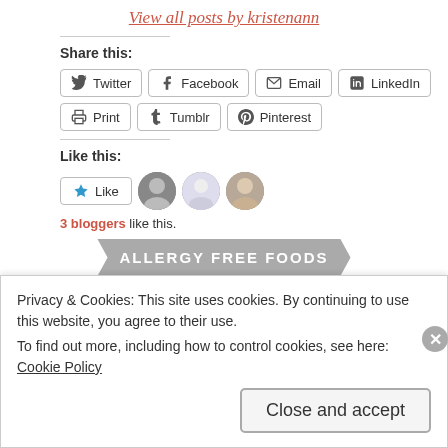View all posts by kristenann
Share this:
[Figure (other): Social share buttons: Twitter, Facebook, Email, LinkedIn, Print, Tumblr, Pinterest]
Like this:
[Figure (other): Like button with star icon and 3 blogger avatar images]
3 bloggers like this.
[Figure (other): ALLERGY FREE FOODS banner in grey arrow/chevron shape]
Privacy & Cookies: This site uses cookies. By continuing to use this website, you agree to their use. To find out more, including how to control cookies, see here: Cookie Policy
Close and accept